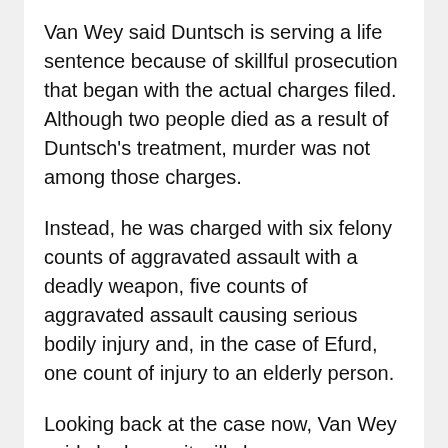Van Wey said Duntsch is serving a life sentence because of skillful prosecution that began with the actual charges filed. Although two people died as a result of Duntsch's treatment, murder was not among those charges.
Instead, he was charged with six felony counts of aggravated assault with a deadly weapon, five counts of aggravated assault causing serious bodily injury and, in the case of Efurd, one count of injury to an elderly person.
Looking back at the case now, Van Wey said she hopes it will change some things in the medical community. "For medical school, are there no character requirements?" she asked. "Residency